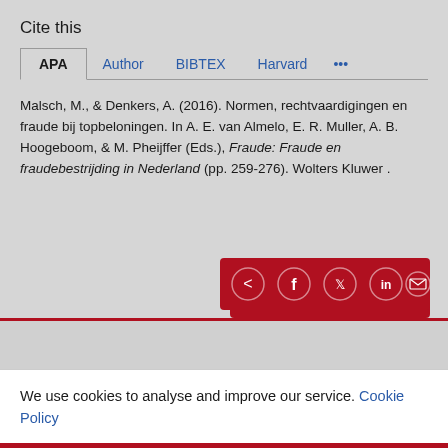Cite this
APA  Author  BIBTEX  Harvard  ...
Malsch, M., & Denkers, A. (2016). Normen, rechtvaardigingen en fraude bij topbeloningen. In A. E. van Almelo, E. R. Muller, A. B. Hoogeboom, & M. Pheijffer (Eds.), Fraude: Fraude en fraudebestrijding in Nederland (pp. 259-276). Wolters Kluwer .
We use cookies to analyse and improve our service. Cookie Policy